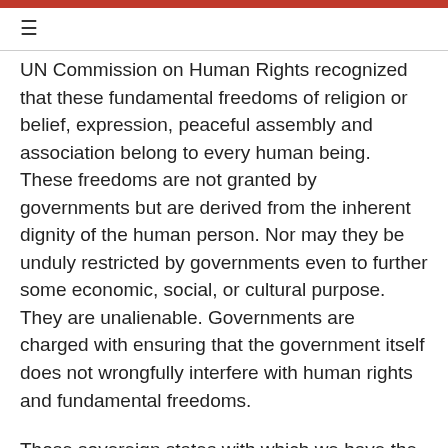≡
UN Commission on Human Rights recognized that these fundamental freedoms of religion or belief, expression, peaceful assembly and association belong to every human being. These freedoms are not granted by governments but are derived from the inherent dignity of the human person. Nor may they be unduly restricted by governments even to further some economic, social, or cultural purpose. They are unalienable. Governments are charged with ensuring that the government itself does not wrongfully interfere with human rights and fundamental freedoms.
Those sovereign states with which we have the closest, most long-standing, and productive collaboration are those where the government generally respects human rights, including the freedoms of religion or belief, expression,